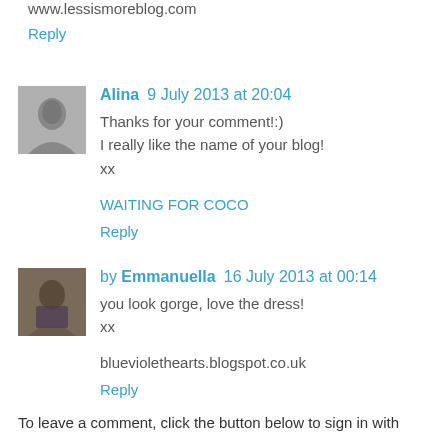www.lessismoreblog.com
Reply
Alina 9 July 2013 at 20:04
Thanks for your comment!:)
I really like the name of your blog!
xx
WAITING FOR COCO
Reply
by Emmanuella 16 July 2013 at 00:14
you look gorge, love the dress!
xx
blueviolethearts.blogspot.co.uk
Reply
To leave a comment, click the button below to sign in with